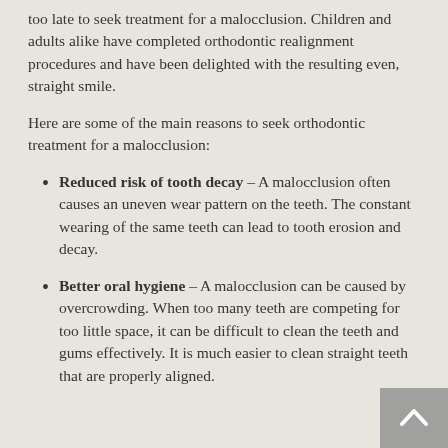too late to seek treatment for a malocclusion. Children and adults alike have completed orthodontic realignment procedures and have been delighted with the resulting even, straight smile.
Here are some of the main reasons to seek orthodontic treatment for a malocclusion:
Reduced risk of tooth decay – A malocclusion often causes an uneven wear pattern on the teeth. The constant wearing of the same teeth can lead to tooth erosion and decay.
Better oral hygiene – A malocclusion can be caused by overcrowding. When too many teeth are competing for too little space, it can be difficult to clean the teeth and gums effectively. It is much easier to clean straight teeth that are properly aligned.